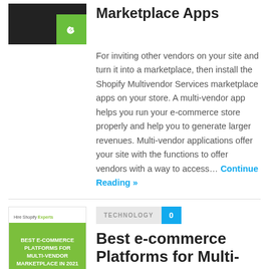[Figure (illustration): Dark thumbnail image with a green badge in the lower-right corner containing a chain-link icon]
Marketplace Apps
For inviting other vendors on your site and turn it into a marketplace, then install the Shopify Multivendor Services marketplace apps on your store. A multi-vendor app helps you run your e-commerce store properly and help you to generate larger revenues. Multi-vendor applications offer your site with the functions to offer vendors with a way to access… Continue Reading »
[Figure (illustration): Book cover thumbnail: 'Hire Shopify Experts' heading with 'BEST E-COMMERCE PLATFORMS FOR MULTI-VENDOR MARKETPLACE IN 2021' on a green background, with a dark footer bar saying 'Share this']
TECHNOLOGY 0
Best e-commerce Platforms for Multi-